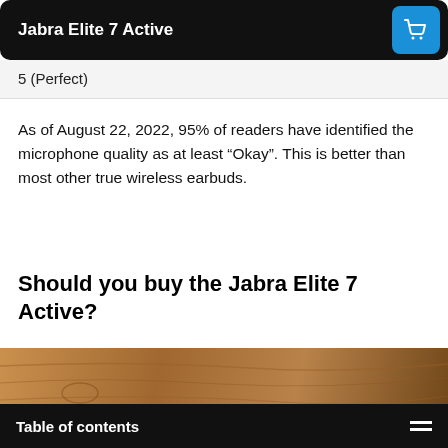Jabra Elite 7 Active
5 (Perfect)
As of August 22, 2022, 95% of readers have identified the microphone quality as at least “Okay”. This is better than most other true wireless earbuds.
Should you buy the Jabra Elite 7 Active?
[Figure (photo): Photo of Jabra Elite 7 Active earbuds on a wooden surface, with a blue earbud visible in the lower right corner.]
Table of contents